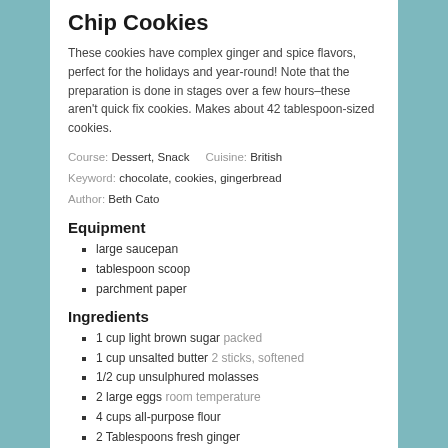Chip Cookies
These cookies have complex ginger and spice flavors, perfect for the holidays and year-round! Note that the preparation is done in stages over a few hours–these aren't quick fix cookies. Makes about 42 tablespoon-sized cookies.
Course: Dessert, Snack   Cuisine: British
Keyword: chocolate, cookies, gingerbread
Author: Beth Cato
Equipment
large saucepan
tablespoon scoop
parchment paper
Ingredients
1 cup light brown sugar packed
1 cup unsalted butter 2 sticks, softened
1/2 cup unsulphured molasses
2 large eggs room temperature
4 cups all-purpose flour
2 Tablespoons fresh ginger
2 teaspoons baking soda
1 teaspoon baking powder
2 teaspoons ground cinnamon
1 teaspoon ground ginger